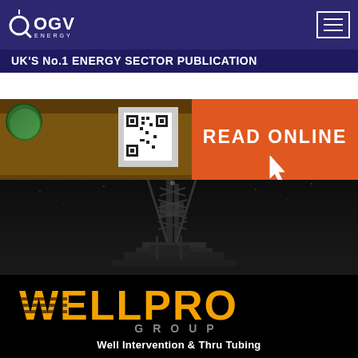[Figure (logo): OGV Energy logo — white text on dark purple navigation bar with hamburger menu icon]
[Figure (photo): Banner advertisement for OGV Energy publication. Left side shows magazine cover with brown/gold tones and green badge. Right side is orange with READ ONLINE text and cursor icon. Bottom text: UK'S No.1 ENERGY SECTOR PUBLICATION]
[Figure (photo): Dark nighttime photograph of an oil/gas drilling rig tower silhouetted against dark sky]
[Figure (logo): Wellpro Group logo on black background. Large orange WELLPRO text with horizontal line stripes through letters, grey GROUP text below in wide letter-spacing, white subtitle: Well Intervention & Thru Tubing]